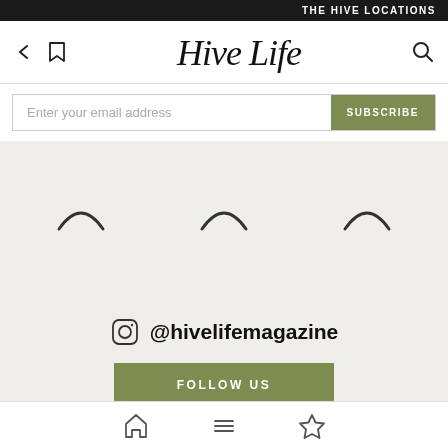THE HIVE LOCATIONS
[Figure (logo): Hive Life magazine logo in script/cursive font]
Enter your email address
SUBSCRIBE
[Figure (other): Three loading spinner icons arranged horizontally on a beige background]
@hivelifemagazine
FOLLOW US